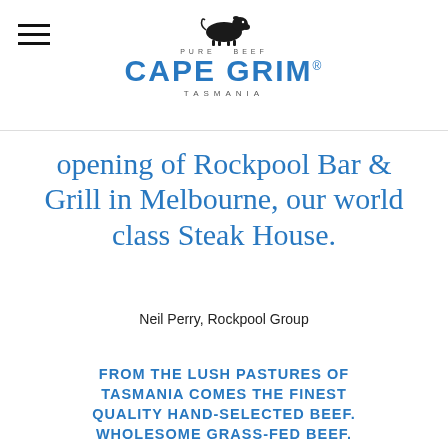[Figure (logo): Cape Grim Pure Beef Tasmania logo with illustrated black cow silhouette above the brand name]
opening of Rockpool Bar & Grill in Melbourne, our world class Steak House.
Neil Perry, Rockpool Group
FROM THE LUSH PASTURES OF TASMANIA COMES THE FINEST QUALITY HAND-SELECTED BEEF. WHOLESOME GRASS-FED BEEF.